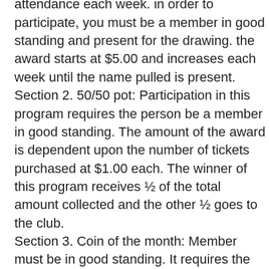reward members for their continued attendance each week. in order to participate, you must be a member in good standing and present for the drawing. the award starts at $5.00 and increases each week until the name pulled is present. Section 2. 50/50 pot: Participation in this program requires the person be a member in good standing. The amount of the award is dependent upon the number of tickets purchased at $1.00 each. The winner of this program receives ½ of the total amount collected and the other ½ goes to the club. Section 3. Coin of the month: Member must be in good standing. It requires the purchase of a ticket for $ 1.00. There are 3 prizes: 1st, 2nd & 3rd place prizes